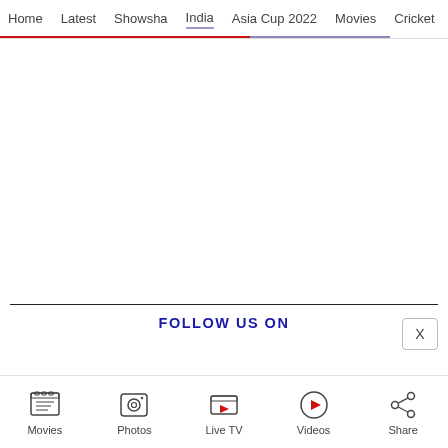Home | Latest | Showsha | India | Asia Cup 2022 | Movies | Cricket
FOLLOW US ON
Movies | Photos | Live TV | Videos | Share